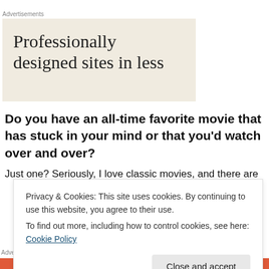Advertisements
[Figure (screenshot): Advertisement box with beige/cream background showing text 'Professionally designed sites in less']
Do you have an all-time favorite movie that has stuck in your mind or that you'd watch over and over?
Just one? Seriously, I love classic movies, and there are
Privacy & Cookies: This site uses cookies. By continuing to use this website, you agree to their use.
To find out more, including how to control cookies, see here: Cookie Policy
Advertisements